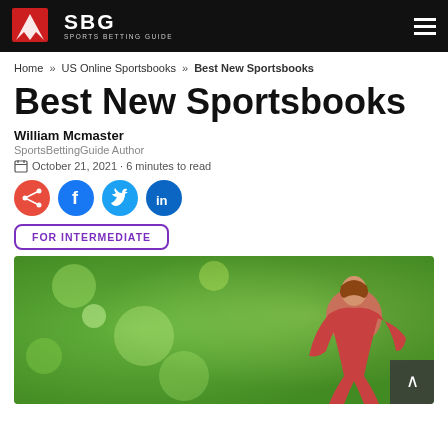SBG Sports Betting Guide
Home » US Online Sportsbooks » Best New Sportsbooks
Best New Sportsbooks
William Mcmaster
SportsBettingGuide Author
October 21, 2021 · 6 minutes to read
[Figure (infographic): Social share icons: orange share button, Facebook, Twitter, LinkedIn]
FOR INTERMEDIATE
[Figure (photo): Woman in red athletic outfit sitting outdoors on green bokeh background]